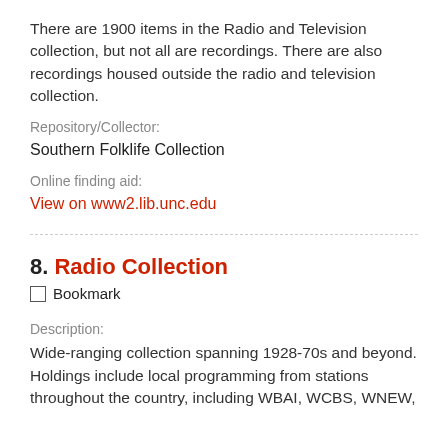There are 1900 items in the Radio and Television collection, but not all are recordings. There are also recordings housed outside the radio and television collection.
Repository/Collector:
Southern Folklife Collection
Online finding aid:
View on www2.lib.unc.edu
8. Radio Collection
□ Bookmark
Description:
Wide-ranging collection spanning 1928-70s and beyond. Holdings include local programming from stations throughout the country, including WBAI, WCBS, WNEW,